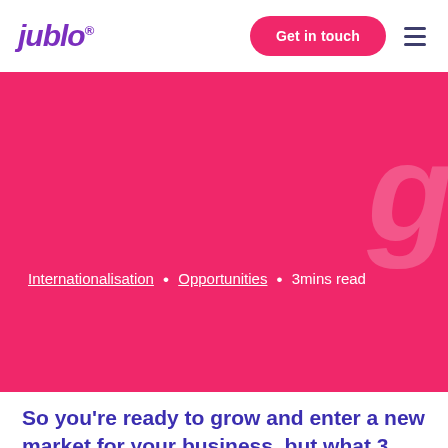jublo® | Get in touch
[Figure (screenshot): Pink/magenta hero banner with partial large italic letter visible at top right]
Internationalisation • Opportunities • 3mins read
So you're ready to grow and enter a new market for your business, but what 3 things should you do